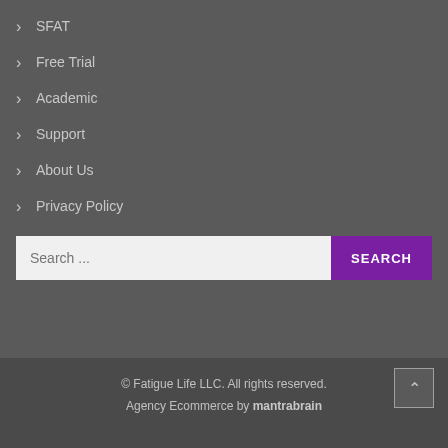> SFAT
> Free Trial
> Academic
> Support
> About Us
> Privacy Policy
Search ...
© Fatigue Life LLC. All rights reserved. Agency Ecommerce by mantrabrain